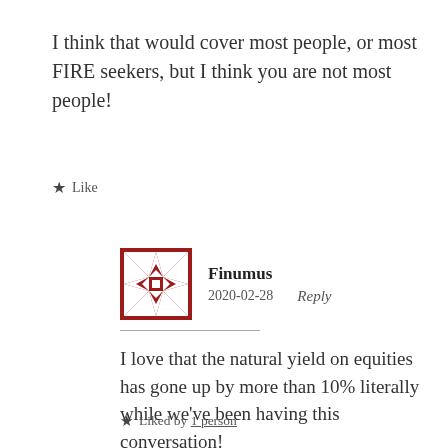I think that would cover most people, or most FIRE seekers, but I think you are not most people!
★ Like
Finumus
2020-02-28    Reply
I love that the natural yield on equities has gone up by more than 10% literally while we've been having this conversation!
★ Liked by 1 person